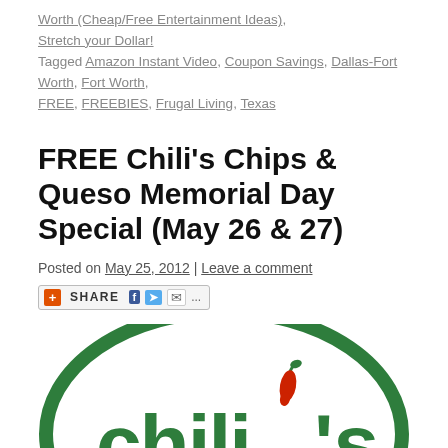Worth (Cheap/Free Entertainment Ideas), Stretch your Dollar! Tagged Amazon Instant Video, Coupon Savings, Dallas-Fort Worth, Fort Worth, FREE, FREEBIES, Frugal Living, Texas
FREE Chili's Chips & Queso Memorial Day Special (May 26 & 27)
Posted on May 25, 2012 | Leave a comment
[Figure (other): Share bar with orange plus icon, SHARE text, Facebook, Twitter, email icons and dots]
[Figure (logo): Chili's restaurant logo — green oval outline with white interior showing 'chili's' text in green with a red chili pepper accent]